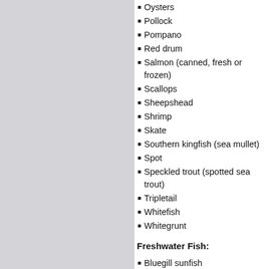Oysters
Pollock
Pompano
Red drum
Salmon (canned, fresh or frozen)
Scallops
Sheepshead
Shrimp
Skate
Southern kingfish (sea mullet)
Spot
Speckled trout (spotted sea trout)
Tripletail
Whitefish
Whitegrunt
Freshwater Fish:
Bluegill sunfish
Farm-raised catfish
Farm-raised trout
Farm-raised crayfish